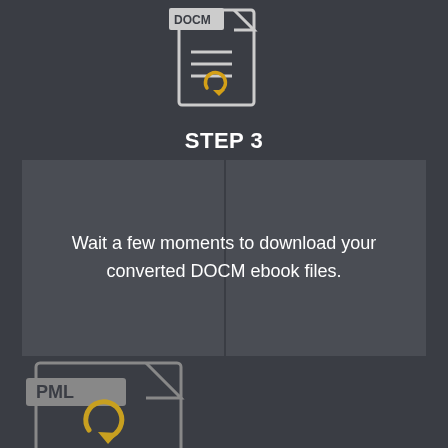[Figure (illustration): DOCM file icon with circular refresh/convert arrows in gold/yellow, shown at top center]
STEP 3
Wait a few moments to download your converted DOCM ebook files.
[Figure (illustration): PML file icon with circular refresh/convert arrows in gold/yellow, shown at bottom left]